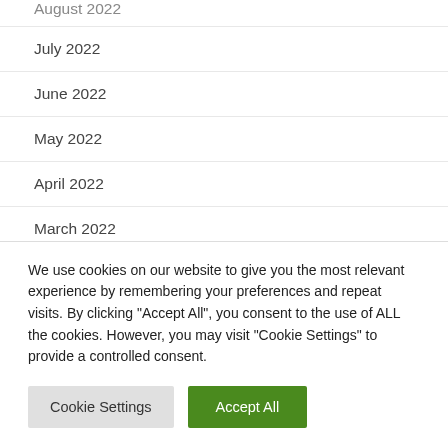August 2022
July 2022
June 2022
May 2022
April 2022
March 2022
February 2022
January 2022
We use cookies on our website to give you the most relevant experience by remembering your preferences and repeat visits. By clicking "Accept All", you consent to the use of ALL the cookies. However, you may visit "Cookie Settings" to provide a controlled consent.
Cookie Settings
Accept All